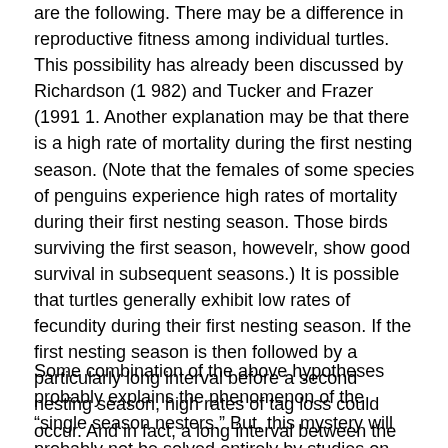are the following. There may be a difference in reproductive fitness among individual turtles. This possibility has already been discussed by Richardson (1 982) and Tucker and Frazer (1991 1. Another explanation may be that there is a high rate of mortality during the first nesting season. (Note that the females of some species of penguins experience high rates of mortality during their first nesting season. Those birds surviving the first season, howevelr, show good survival in subsequent seasons.) It is possible that turtles generally exhibit low rates of fecundity during their first nesting season. If the first nesting season is then followed by a particularly long interval before a second nesting season, high rates of tag loss could occur. And in fact, a long interval between the first and second nesting seasons would not be surprising considering the very long interval we know occurs between hatching and first nesting.
Some combination of the above hypotheses probably explains the phenomenon of the “single season nesters.” But, this mystery will probably not be solved entirely by studies on the nesting beach. More in-water work is needed. More subadult